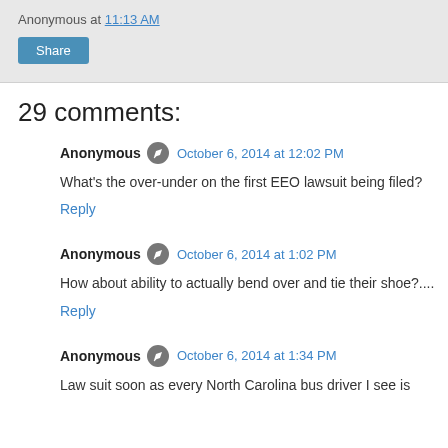Anonymous at 11:13 AM
Share
29 comments:
Anonymous • October 6, 2014 at 12:02 PM
What's the over-under on the first EEO lawsuit being filed?
Reply
Anonymous • October 6, 2014 at 1:02 PM
How about ability to actually bend over and tie their shoe?....
Reply
Anonymous • October 6, 2014 at 1:34 PM
Law suit soon as every North Carolina bus driver I see is